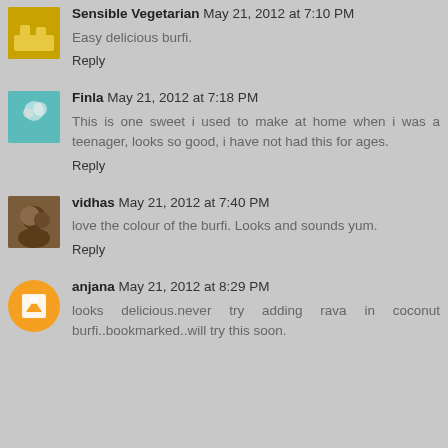Sensible Vegetarian May 21, 2012 at 7:10 PM
Easy delicious burfi.
Reply
Finla May 21, 2012 at 7:18 PM
This is one sweet i used to make at home when i was a teenager, looks so good, i have not had this for ages.
Reply
vidhas May 21, 2012 at 7:40 PM
love the colour of the burfi. Looks and sounds yum.
Reply
anjana May 21, 2012 at 8:29 PM
looks delicious.never try adding rava in coconut burfi..bookmarked..will try this soon.